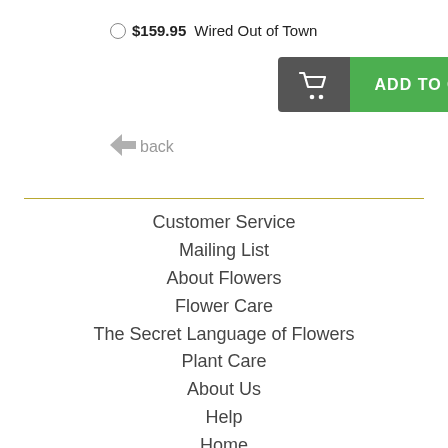$159.95  Wired Out of Town
[Figure (screenshot): Add to Cart button with shopping cart icon on dark grey background and green ADD TO CART text section]
back
Customer Service
Mailing List
About Flowers
Flower Care
The Secret Language of Flowers
Plant Care
About Us
Help
Home